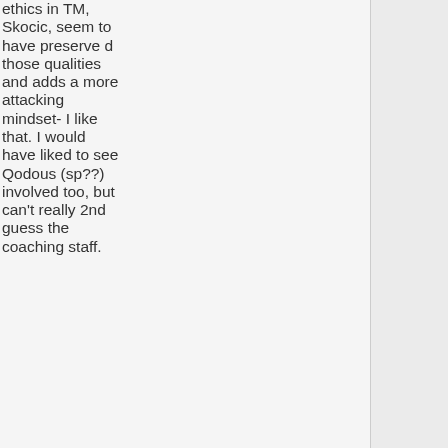ethics in TM, Skocic, seem to have preserved those qualities and adds a more attacking mindset- I like that. I would have liked to see Qodous (sp??) involved too, but can't really 2nd guess the coaching staff.